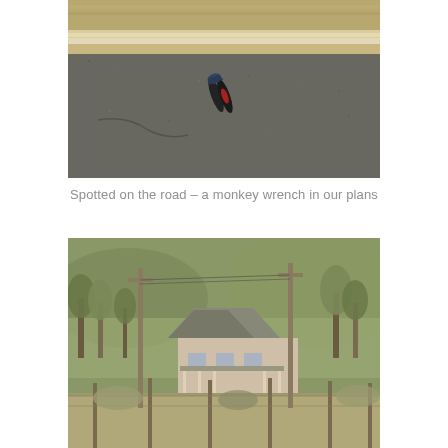[Figure (photo): Aerial or close-up view of a road surface with gravel and sand layers, with a pair of pliers/wrench lying on the asphalt road]
Spotted on the road – a monkey wrench in our plans
[Figure (photo): Landscape photo showing a ranch-style house surrounded by bare trees and hills, with utility poles and fence in the foreground]